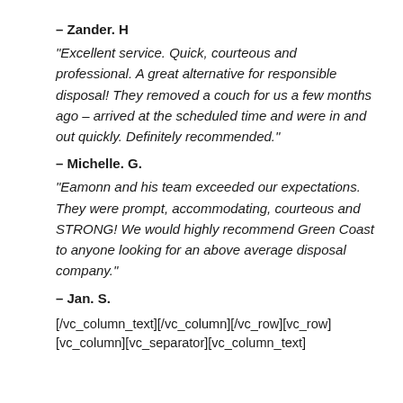– Zander. H
“Excellent service. Quick, courteous and professional. A great alternative for responsible disposal! They removed a couch for us a few months ago – arrived at the scheduled time and were in and out quickly. Definitely recommended.”
– Michelle. G.
“Eamonn and his team exceeded our expectations. They were prompt, accommodating, courteous and STRONG! We would highly recommend Green Coast to anyone looking for an above average disposal company.”
– Jan. S.
[/vc_column_text][/vc_column][/vc_row][vc_row][vc_column][vc_separator][vc_column_text]